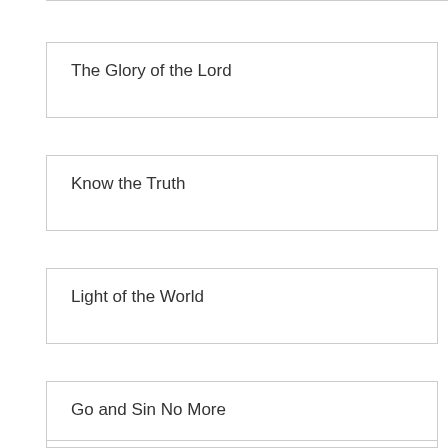The Glory of the Lord
Know the Truth
Light of the World
Go and Sin No More